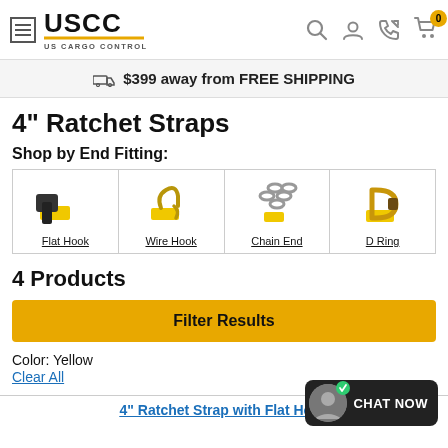[Figure (screenshot): US Cargo Control website header with hamburger menu, USCC logo, search, user, phone, and cart icons (badge showing 0)]
$399 away from FREE SHIPPING
4" Ratchet Straps
Shop by End Fitting:
[Figure (infographic): Four end fitting options shown as product image tiles: Flat Hook, Wire Hook, Chain End, D Ring]
4 Products
Filter Results
Color: Yellow
Clear All
4" Ratchet Strap with Flat Hook
[Figure (screenshot): Chat Now widget in bottom right corner with avatar and green checkmark]